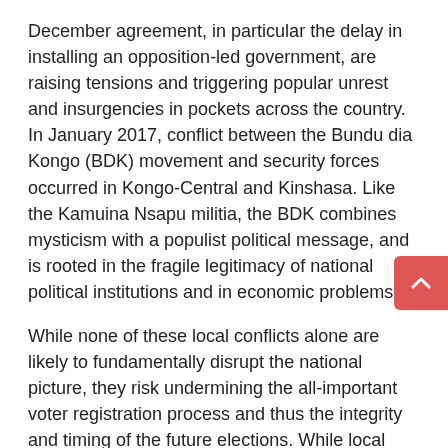December agreement, in particular the delay in installing an opposition-led government, are raising tensions and triggering popular unrest and insurgencies in pockets across the country. In January 2017, conflict between the Bundu dia Kongo (BDK) movement and security forces occurred in Kongo-Central and Kinshasa. Like the Kamuina Nsapu militia, the BDK combines mysticism with a populist political message, and is rooted in the fragile legitimacy of national political institutions and in economic problems.
While none of these local conflicts alone are likely to fundamentally disrupt the national picture, they risk undermining the all-important voter registration process and thus the integrity and timing of the future elections. While local measures are important, maintaining the path toward elections to ensure representative government structures is ultimately the only way out of this quagmire.
The International Crisis Group kindly allows Modern Tokyo Times to publish their esteemed articles based on important research. Please check the website of this